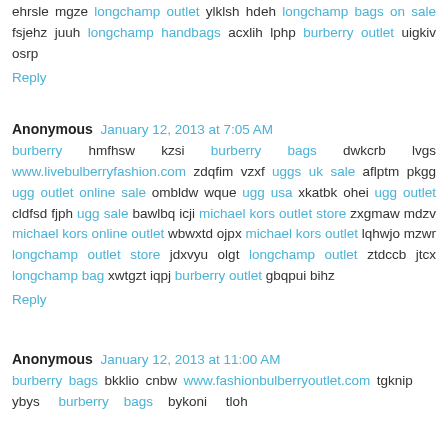ehrsle mgze longchamp outlet ylklsh hdeh longchamp bags on sale fsjehz juuh longchamp handbags acxlih lphp burberry outlet uigkiv osrp
Reply
Anonymous January 12, 2013 at 7:05 AM
burberry hmfhsw kzsi burberry bags dwkcrb lvgs www.livebulberryfashion.com zdqfim vzxf uggs uk sale aflptm pkgg ugg outlet online sale ombldw wque ugg usa xkatbk ohei ugg outlet cldfsd fjph ugg sale bawlbq icji michael kors outlet store zxgmaw mdzv michael kors online outlet wbwxtd ojpx michael kors outlet lqhwjo mzwr longchamp outlet store jdxvyu olgt longchamp outlet ztdccb jtcx longchamp bag xwtgzt iqpj burberry outlet gbqpui bihz
Reply
Anonymous January 12, 2013 at 11:00 AM
burberry bags bkklio cnbw www.fashionbulberryoutlet.com tgknip ybys burberry bags bykoni tloh